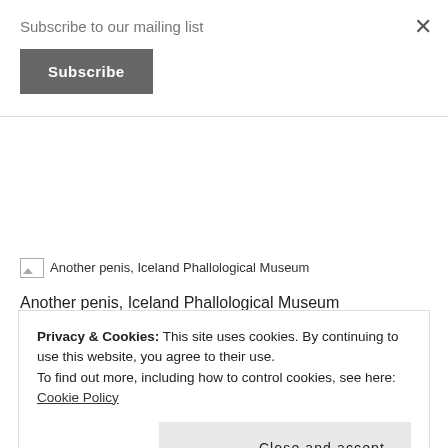Subscribe to our mailing list
Subscribe
[Figure (photo): Broken/placeholder image icon followed by alt text: Another penis, Iceland Phallological Museum]
Another penis, Iceland Phallological Museum
I'm not sure whether the low lighting is to protect the penises or just for atmosphere. Either way I enjoyed my time in this museum borne from an
Privacy & Cookies: This site uses cookies. By continuing to use this website, you agree to their use.
To find out more, including how to control cookies, see here: Cookie Policy
Close and accept
sea, at least I can say I've seen the pickled